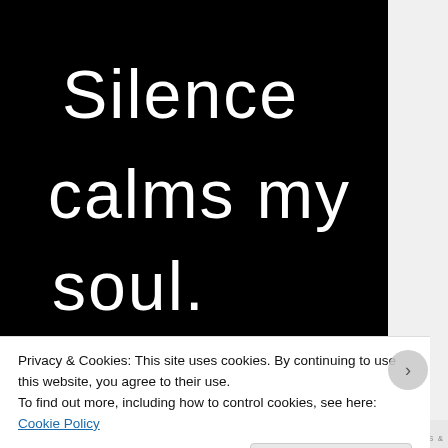[Figure (illustration): Black background image with white handwritten-style text reading 'Silence calms my soul.']
Privacy & Cookies: This site uses cookies. By continuing to use this website, you agree to their use.
To find out more, including how to control cookies, see here: Cookie Policy
Close and accept